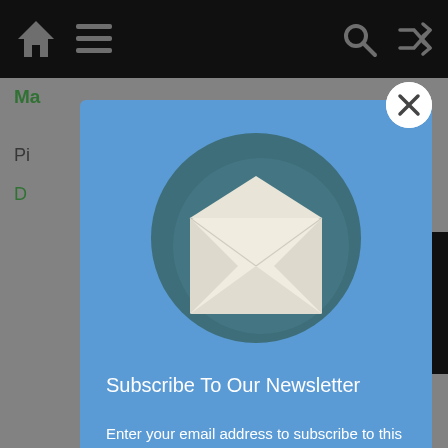[Figure (screenshot): Mobile app screenshot showing a newsletter subscription modal overlay on a dark-themed blog app. The modal has a blue background with an envelope icon, title 'Subscribe To Our Newsletter', and descriptive text. A white close (X) button appears at the top-right corner of the modal.]
Subscribe To Our Newsletter
Enter your email address to subscribe to this blog absolutely free and receive notifications of new posts by email Thanks.